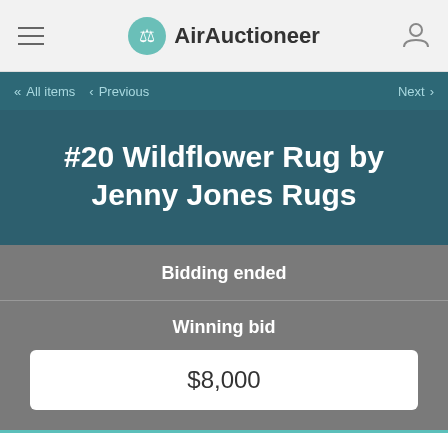AirAuctioneer
<< All items  < Previous  Next >
#20 Wildflower Rug by Jenny Jones Rugs
Bidding ended
Winning bid
$8,000
We use cookies to personalize content, such as providing links